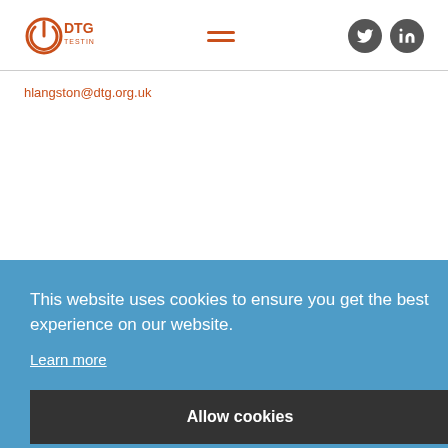DTG Testing logo, hamburger menu, Twitter and LinkedIn social icons
hlangston@dtg.org.uk
This website uses cookies to ensure you get the best experience on our website. Learn more
Allow cookies
Freesat 4K set-top boxes pass DTG